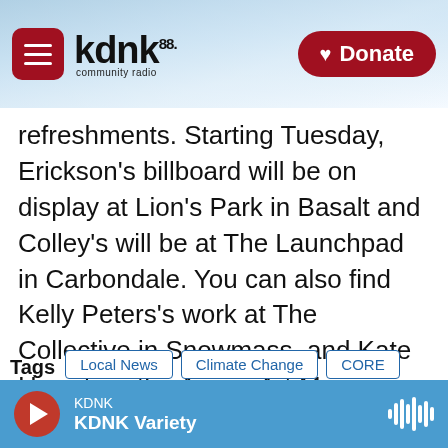[Figure (screenshot): KDNK 88.1 community radio website header with hamburger menu button, logo, snowy mountain background, and red Donate button]
refreshments. Starting Tuesday, Erickson's billboard will be on display at Lion's Park in Basalt and Colley's will be at The Launchpad in Carbondale. You can also find Kelly Peters's work at The Collective in Snowmass, and Kate Howe's in the Aspen Art Museum.
Tags: Local News | Climate Change | CORE | Art | Brian Colley | Lara Whitley | Community Office for Resource Efficiency
KDNK — KDNK Variety